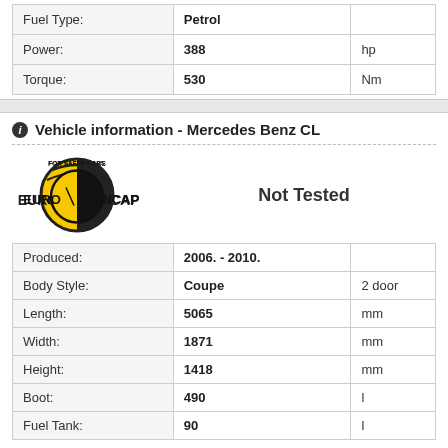|  |  |  |
| --- | --- | --- |
| Fuel Type: | Petrol |  |
| Power: | 388 | hp |
| Torque: | 530 | Nm |
Vehicle information - Mercedes Benz CL
[Figure (logo): Euro NCAP - For Safer Cars logo with yellow and black circular design]
Not Tested
|  |  |  |
| --- | --- | --- |
| Produced: | 2006. - 2010. |  |
| Body Style: | Coupe | 2 door |
| Length: | 5065 | mm |
| Width: | 1871 | mm |
| Height: | 1418 | mm |
| Boot: | 490 | l |
| Fuel Tank: | 90 | l |